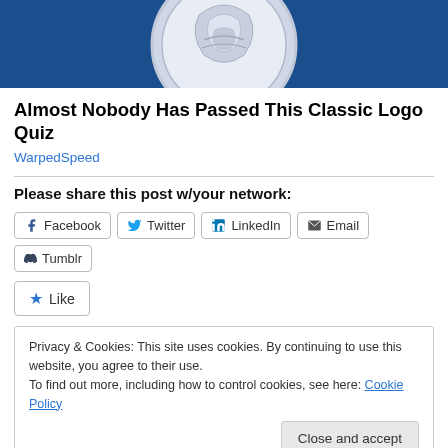[Figure (illustration): Blue banner with partial circular silver/white logo or coin graphic at the top]
Almost Nobody Has Passed This Classic Logo Quiz
WarpedSpeed
Please share this post w/your network:
[Figure (other): Social share buttons: Facebook, Twitter, LinkedIn, Email, Tumblr]
[Figure (other): Like button with star icon]
Privacy & Cookies: This site uses cookies. By continuing to use this website, you agree to their use. To find out more, including how to control cookies, see here: Cookie Policy
Close and accept
I want to watch